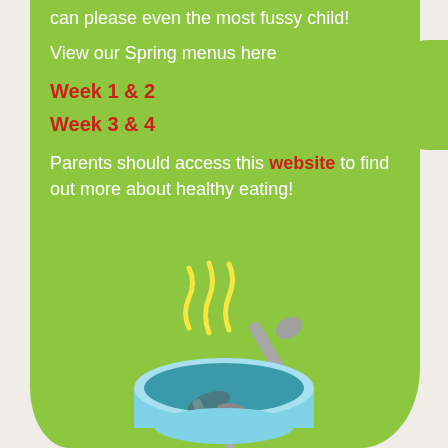can please even the most fussy child!
View our Spring menus here
Week 1 & 2
Week 3 & 4
Parents should access this website to find out more about healthy eating!
[Figure (illustration): Illustration of a blue bowl with steam rising (yellow wavy lines) and a spoon, representing a hot meal]